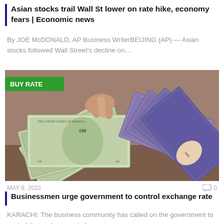Asian stocks trail Wall St lower on rate hike, economy fears | Economic news
By JOE McDONALD, AP Business WriterBEIJING (AP) — Asian stocks followed Wall Street's decline on…
[Figure (photo): Photo of US dollar bills fanned out alongside Pakistani rupee banknotes, with a green 'BUY RATE' label overlay in the top-left corner.]
MAY 9, 2022   0
Businessmen urge government to control exchange rate
KARACHI: The business community has called on the government to control the exchange rate because…